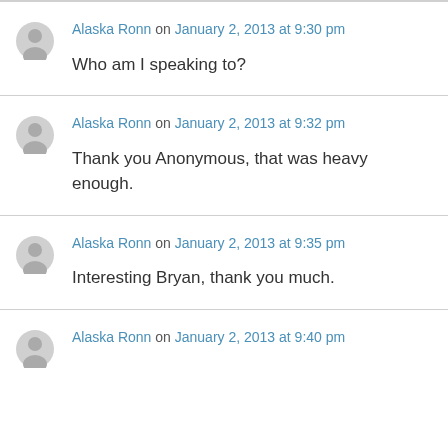Alaska Ronn on January 2, 2013 at 9:30 pm
Who am I speaking to?
Alaska Ronn on January 2, 2013 at 9:32 pm
Thank you Anonymous, that was heavy enough.
Alaska Ronn on January 2, 2013 at 9:35 pm
Interesting Bryan, thank you much.
Alaska Ronn on January 2, 2013 at 9:40 pm